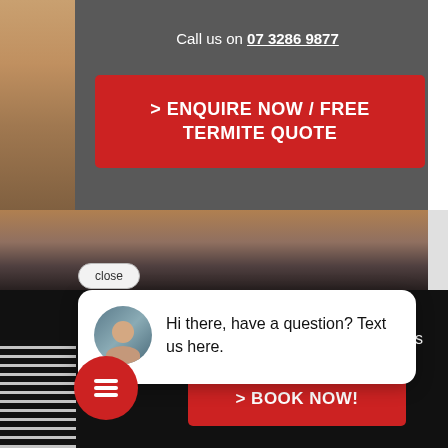Call us on 07 3286 9877
> ENQUIRE NOW / FREE TERMITE QUOTE
[Figure (screenshot): Website screenshot showing a call-to-action section with dark grey background, a 'Call us on 07 3286 9877' header, and a red button saying '> ENQUIRE NOW / FREE TERMITE QUOTE']
close
BOOK ONLINE
ed prices
Hi there, have a question? Text us here.
> BOOK NOW!